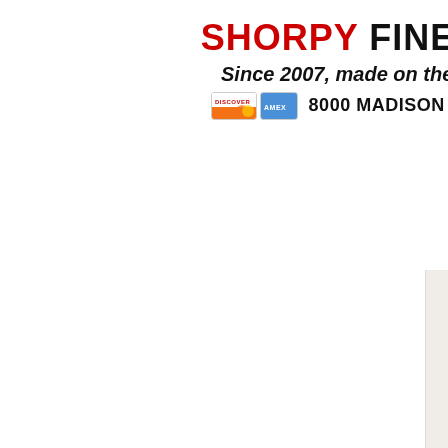SHORPY FINE-ART PRI
Since 2007, made on the Shorpy premis
8000 MADISON BLVD STE D102-1